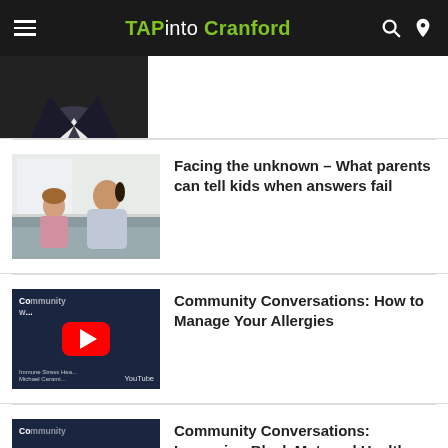TAPinto Cranford
[Figure (photo): Partial photo of a person in a dark suit, torso/chin only visible]
[Figure (photo): Mother and young daughter sitting on couch having a conversation]
Facing the unknown – What parents can tell kids when answers fail
[Figure (screenshot): YouTube video thumbnail: Community Conversations about managing allergies]
Community Conversations: How to Manage Your Allergies
[Figure (screenshot): YouTube video thumbnail: Community Conversations about Black Maternal Health]
Community Conversations: Improving Black Maternal Health